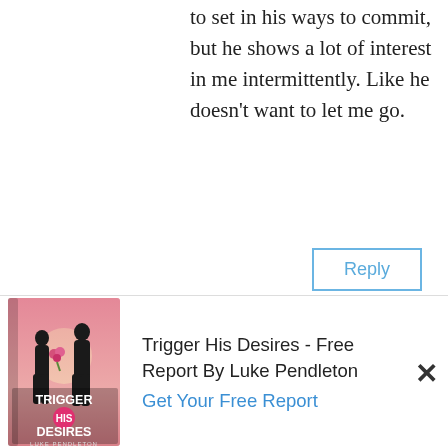to set in his ways to commit, but he shows a lot of interest in me intermittently. Like he doesn't want to let me go.
Reply
James Bauer
[Figure (logo): BUNKPUBLISHING logo text]
Hi Marilyn. You've learned a lot across your lifetime, and your ability to sense the truth has no doubt deepened over the years. So let me ask you this. What is the truth behind
[Figure (photo): Book cover: Trigger His Desires by Luke Pendleton, showing silhouette of couple with pink/sunset background]
Trigger His Desires - Free Report By Luke Pendleton
Get Your Free Report
×